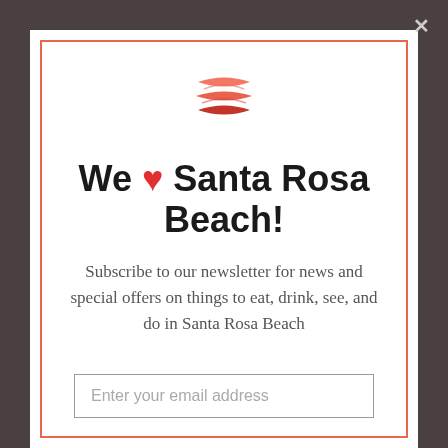[Figure (logo): Stacked layers logo icon in red/coral gradient, resembling three stacked parallelograms]
We ❤ Santa Rosa Beach!
Subscribe to our newsletter for news and special offers on things to eat, drink, see, and do in Santa Rosa Beach
Enter your email address